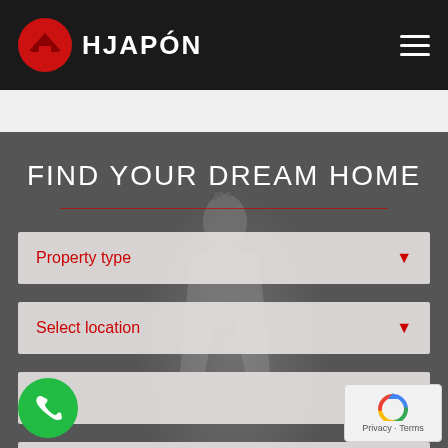[Figure (logo): HJAPON real estate logo with red circle containing a house roofline silhouette, white text HJAPÓN on black navigation bar]
FIND YOUR DREAM HOME
Property type
Select location
Sale
e range
[Figure (screenshot): reCAPTCHA widget with Privacy and Terms links]